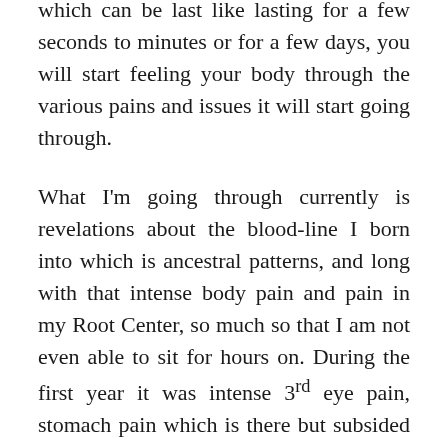which can be last like lasting for a few seconds to minutes or for a few days, you will start feeling your body through the various pains and issues it will start going through.
What I'm going through currently is revelations about the blood-line I born into which is ancestral patterns, and long with that intense body pain and pain in my Root Center, so much so that I am not even able to sit for hours on. During the first year it was intense 3rd eye pain, stomach pain which is there but subsided a lot. With Kundalini rising in your boduy you may also feel powerful bursts of energy and